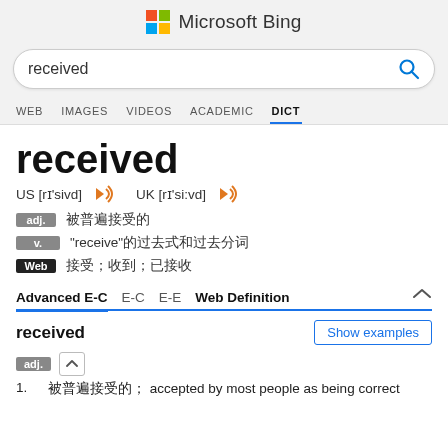Microsoft Bing
received
WEB  IMAGES  VIDEOS  ACADEMIC  DICT
received
US [rɪ'sivd]  UK [rɪ'si:vd]
adj. [Chinese characters]
v. "receive"[Chinese characters]
Web [Chinese characters]
Advanced E-C  E-C  E-E  Web Definition
received
Show examples
adj.
1. [Chinese characters] accepted by most people as being correct